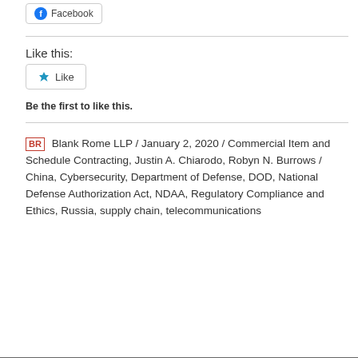[Figure (other): Facebook share button with Facebook icon]
Like this:
[Figure (other): Like button with star icon]
Be the first to like this.
BR  Blank Rome LLP / January 2, 2020 / Commercial Item and Schedule Contracting, Justin A. Chiarodo, Robyn N. Burrows / China, Cybersecurity, Department of Defense, DOD, National Defense Authorization Act, NDAA, Regulatory Compliance and Ethics, Russia, supply chain, telecommunications